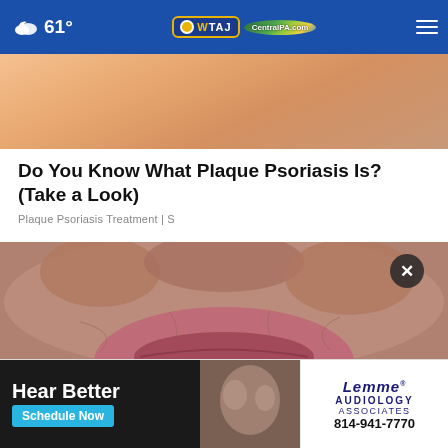61° WTAJ CentralPA.com
[Figure (photo): Close-up of skin with peachy/orange tones, cropped partial view]
Do You Know What Plaque Psoriasis Is? (Take a Look)
Plaque Psoriasis Treatment | S
[Figure (photo): Extreme close-up of elderly person's mouth/lips area showing severe skin condition]
[Figure (photo): Advertisement: Hear Better - Schedule Now - Lemme Audiology Associates - 814-941-7770]